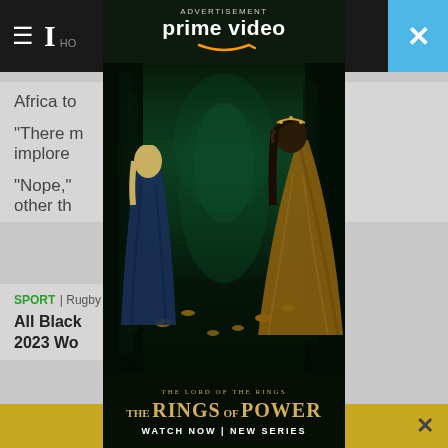Navigation bar with hamburger menu, newspaper logo, and close button
Africa to
"There m... implore..."
"Nope," ...mean other th...
SPORT | Rugby
All Blacks... to 2023 Wo... ainst
[Figure (screenshot): Amazon Prime Video advertisement overlay for 'The Lord of the Rings: The Rings of Power'. Shows two female characters in a mystical forest tunnel with glowing lights. Text reads: ADVERTISEMENT, prime video, THE LORD OF THE RINGS, THE RINGS OF POWER, WATCH NOW | NEW SERIES.]